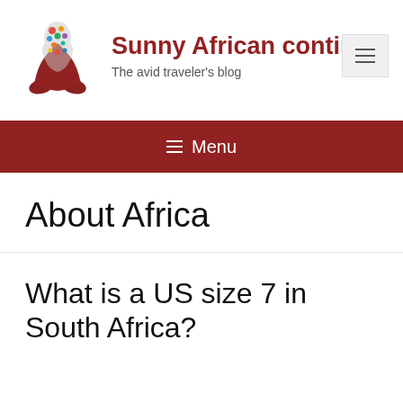[Figure (logo): Colorful Africa-shaped logo with animals and cultural icons on top of red hands, representing the Sunny African continent travel blog]
Sunny African contine…
The avid traveler's blog
≡ Menu
About Africa
What is a US size 7 in South Africa?